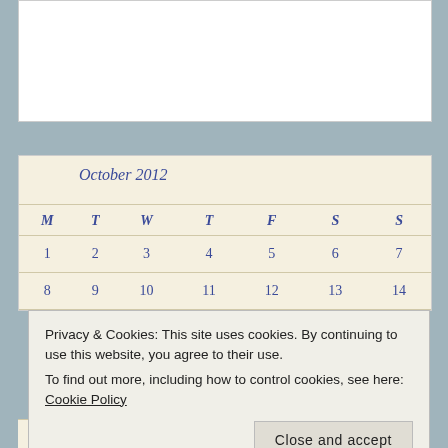[Figure (other): White content box area at top of page]
| M | T | W | T | F | S | S |
| --- | --- | --- | --- | --- | --- | --- |
| 1 | 2 | 3 | 4 | 5 | 6 | 7 |
| 8 | 9 | 10 | 11 | 12 | 13 | 14 |
Privacy & Cookies: This site uses cookies. By continuing to use this website, you agree to their use.
To find out more, including how to control cookies, see here: Cookie Policy
Close and accept
« Sep  Nov »